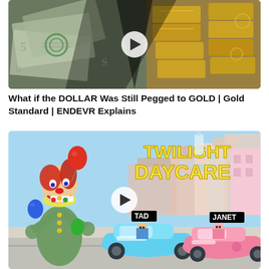[Figure (screenshot): YouTube video thumbnail showing US dollar bills and gold bars with a play button overlay. Dark triangular shape in the center overlaid on scattered dollar bills on the left and stacked gold bars on the right.]
What if the DOLLAR Was Still Pegged to GOLD | Gold Standard | ENDEVR Explains
[Figure (screenshot): YouTube video thumbnail for a Roblox game called Twilight Daycare. Shows a cartoon clown character on the left with a red balloon, and two characters named TAD and JANET riding in a blue and pink toy car respectively. Text 'TWILIGHT DAYCARE' in large yellow letters on the right side. Play button visible in the center.]